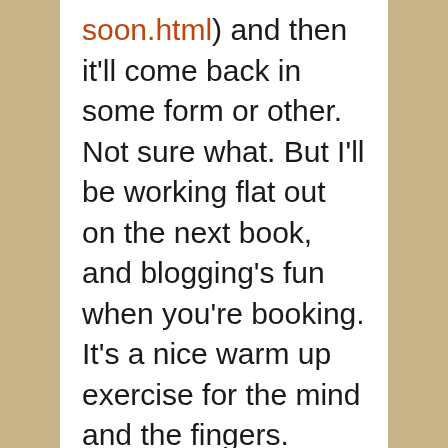soon.html) and then it'll come back in some form or other. Not sure what. But I'll be working flat out on the next book, and blogging's fun when you're booking. It's a nice warm up exercise for the mind and the fingers.